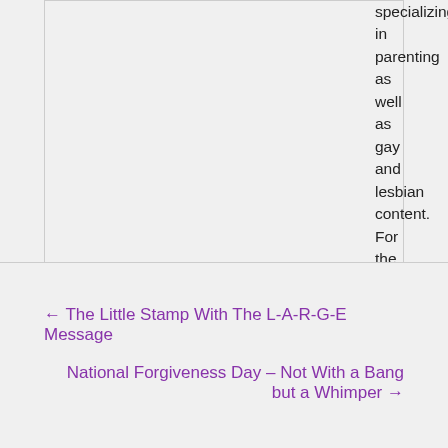specializing in parenting as well as gay and lesbian content. For the past two years, Wesley has concentrated almost exclusively on the lesbian and gay community, specifically on advising straight parents of gay children on how to be better parents and raise happy, well-adjusted adults
← The Little Stamp With The L-A-R-G-E Message
National Forgiveness Day – Not With a Bang but a Whimper →